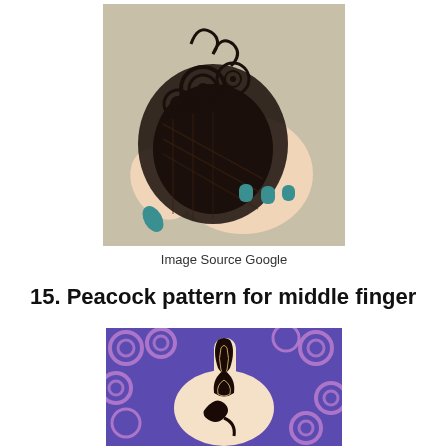[Figure (photo): A hand with intricate henna/mehndi design covering the back of the hand and thumb, with teal/green nails, resting on a light sandy surface.]
Image Source Google
15. Peacock pattern for middle finger
[Figure (photo): A hand with a peacock pattern mehndi design on the middle finger, resting on a blue and purple patterned fabric with swirl designs.]